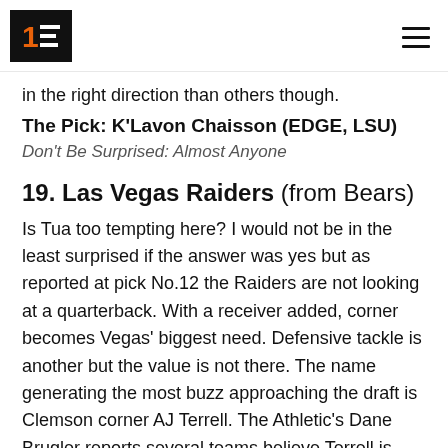1F [logo] [hamburger menu]
in the right direction than others though.
The Pick: K'Lavon Chaisson (EDGE, LSU)
Don't Be Surprised: Almost Anyone
19. Las Vegas Raiders (from Bears)
Is Tua too tempting here? I would not be in the least surprised if the answer was yes but as reported at pick No.12 the Raiders are not looking at a quarterback. With a receiver added, corner becomes Vegas' biggest need. Defensive tackle is another but the value is not there. The name generating the most buzz approaching the draft is Clemson corner AJ Terrell. The Athletic's Dane Brugler reports several teams believe Terrell is going in the top 16. Mayock and co. shocked everyone